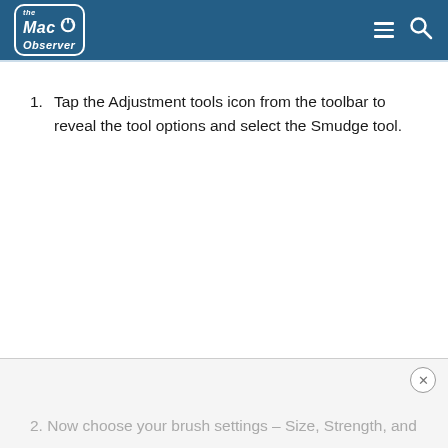the Mac Observer
1. Tap the Adjustment tools icon from the toolbar to reveal the tool options and select the Smudge tool.
2. Now choose your brush settings – Size, Strength, and